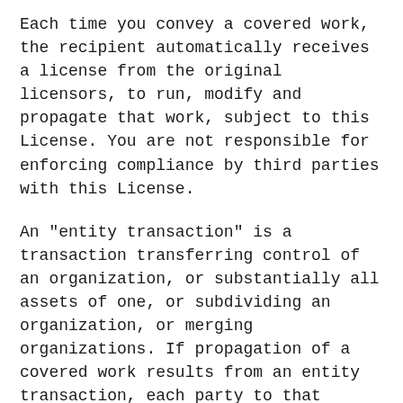Each time you convey a covered work, the recipient automatically receives a license from the original licensors, to run, modify and propagate that work, subject to this License. You are not responsible for enforcing compliance by third parties with this License.
An "entity transaction" is a transaction transferring control of an organization, or substantially all assets of one, or subdividing an organization, or merging organizations. If propagation of a covered work results from an entity transaction, each party to that transaction who receives a copy of the work also receives whatever licenses to the work the party's predecessor in interest had or could give under the previous paragraph, plus a right to possession of the Corresponding Source of